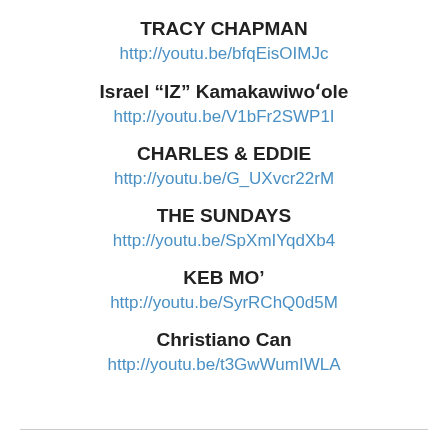TRACY CHAPMAN
http://youtu.be/bfqEisOIMJc
Israel “IZ” Kamakawiwoʻole
http://youtu.be/V1bFr2SWP1I
CHARLES & EDDIE
http://youtu.be/G_UXvcr22rM
THE SUNDAYS
http://youtu.be/SpXmIYqdXb4
KEB MO’
http://youtu.be/SyrRChQ0d5M
Christiano Can
http://youtu.be/t3GwWumIWLA